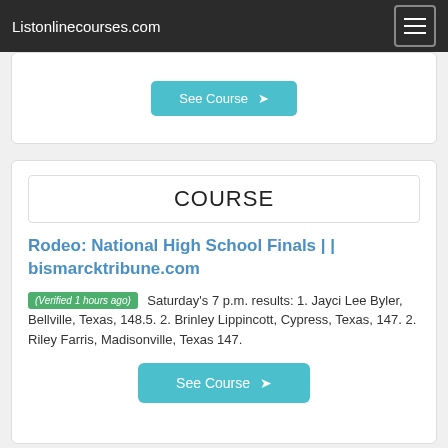Listonlinecourses.com
[Figure (other): See Course button with arrow icon]
COURSE
Rodeo: National High School Finals | | bismarcktribune.com
(Verified 1 hours ago) Saturday's 7 p.m. results: 1. Jayci Lee Byler, Bellville, Texas, 148.5. 2. Brinley Lippincott, Cypress, Texas, 147. 2. Riley Farris, Madisonville, Texas 147.
[Figure (other): See Course button with arrow icon]